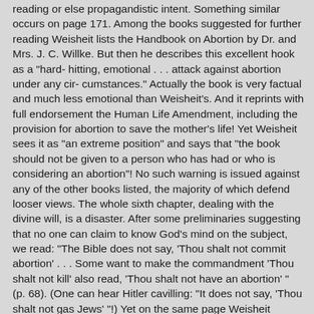reading or else propagandistic intent. Something similar occurs on page 171. Among the books suggested for further reading Weisheit lists the Handbook on Abortion by Dr. and Mrs. J. C. Willke. But then he describes this excellent hook as a "hard- hitting, emotional . . . attack against abortion under any cir- cumstances." Actually the book is very factual and much less emotional than Weisheit's. And it reprints with full endorsement the Human Life Amendment, including the provision for abortion to save the mother's life! Yet Weisheit sees it as "an extreme position" and says that "the book should not be given to a person who has had or who is considering an abortion"! No such warning is issued against any of the other books listed, the majority of which defend looser views. The whole sixth chapter, dealing with the divine will, is a disaster. After some preliminaries suggesting that no one can claim to know God's mind on the subject, we read: "The Bible does not say, 'Thou shalt not commit abortion' . . . Some want to make the commandment 'Thou shalt not kill' also read, 'Thou shalt not have an abortion' " (p. 68). (One can hear Hitler cavilling: "It does not say, 'Thou shalt not gas Jews' "!) Yet on the same page Weisheit admits quite correctly: "God does speak of lifein thewomb as being a person "! How then can one honestly avoid the conclusion